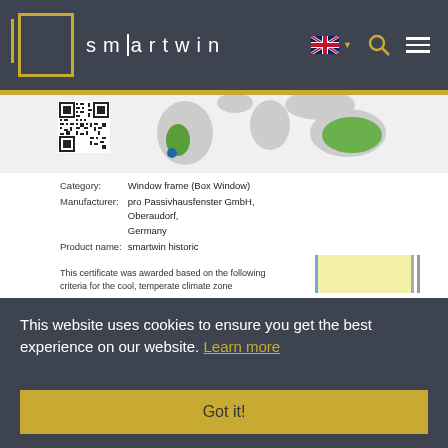[Figure (logo): smartwin logo with yellow border box and lowercase spaced letters on dark grey background]
[Figure (map): World map showing highlighted regions in green (South America and Australia) on grey background]
[Figure (other): QR code in lower left of map area]
| Category: | Window frame (Box Window) |
| Manufacturer: | pro Passivhausfenster GmbH, Oberaudorf, Germany |
| Product name: | smartwin historic |
This certificate was awarded based on the following criteria for the cool, temperate climate zone
This website uses cookies to ensure you get the best experience on our website. Learn more
Got it!